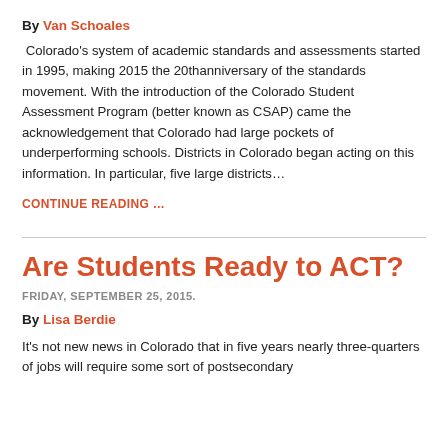By Van Schoales
Colorado's system of academic standards and assessments started in 1995, making 2015 the 20thanniversary of the standards movement. With the introduction of the Colorado Student Assessment Program (better known as CSAP) came the acknowledgement that Colorado had large pockets of underperforming schools. Districts in Colorado began acting on this information. In particular, five large districts...
CONTINUE READING ...
Are Students Ready to ACT?
FRIDAY, SEPTEMBER 25, 2015.
By Lisa Berdie
It's not new news in Colorado that in five years nearly three-quarters of jobs will require some sort of postsecondary